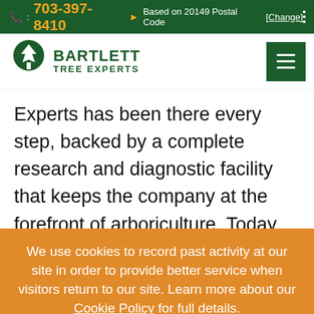📞 : 703-397-8410 ➤ Based on 20149 Postal Code [Change]
[Figure (logo): Bartlett Tree Experts logo with tree icon and text]
Experts has been there every step, backed by a complete research and diagnostic facility that keeps the company at the forefront of arboriculture. Today, Bartlett announced that it has taken tree care even further by making their innovative, new Root-Rx Root Invigoration
We use cookies to record past activity at our site in order to provide better service when visitors return to our site. Learn more about our Cookie Policy for full details.
I UNDERSTAND